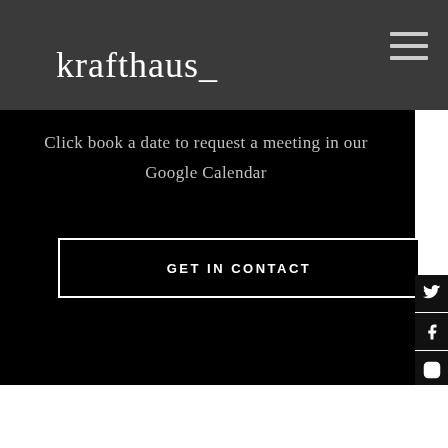krafthaus_
Click book a date to request a meeting in our Google Calendar
GET IN CONTACT
[Figure (infographic): Social media icons sidebar: Twitter, Facebook, Instagram, Pinterest, LinkedIn]